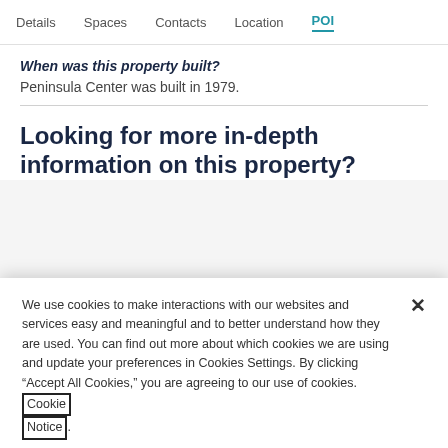Details  Spaces  Contacts  Location  POI
When was this property built?
Peninsula Center was built in 1979.
Looking for more in-depth information on this property?
We use cookies to make interactions with our websites and services easy and meaningful and to better understand how they are used. You can find out more about which cookies we are using and update your preferences in Cookies Settings. By clicking “Accept All Cookies,” you are agreeing to our use of cookies. Cookie Notice
Cookies Settings
Accept All Cookies